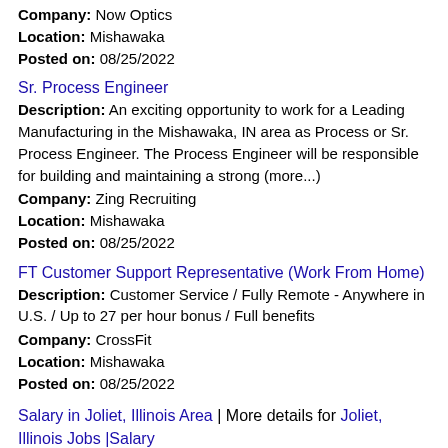Company: Now Optics
Location: Mishawaka
Posted on: 08/25/2022
Sr. Process Engineer
Description: An exciting opportunity to work for a Leading Manufacturing in the Mishawaka, IN area as Process or Sr. Process Engineer. The Process Engineer will be responsible for building and maintaining a strong (more...)
Company: Zing Recruiting
Location: Mishawaka
Posted on: 08/25/2022
FT Customer Support Representative (Work From Home)
Description: Customer Service / Fully Remote - Anywhere in U.S. / Up to 27 per hour bonus / Full benefits
Company: CrossFit
Location: Mishawaka
Posted on: 08/25/2022
Salary in Joliet, Illinois Area | More details for Joliet, Illinois Jobs |Salary
Travel Nurse RN - Med Surg / Telemetry - $2,268 per week